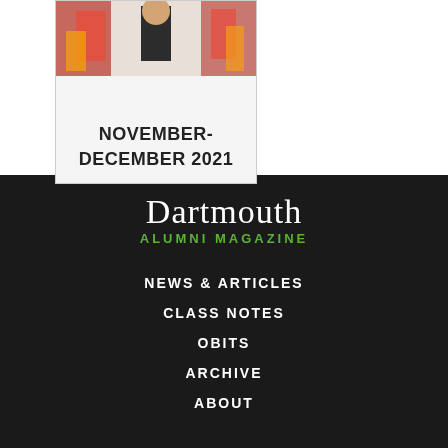[Figure (photo): Magazine cover thumbnail showing a person in black clothing with colorful background, with text 'NOVEMBER-DECEMBER 2021']
Dartmouth ALUMNI MAGAZINE
NEWS & ARTICLES
CLASS NOTES
OBITS
ARCHIVE
ABOUT